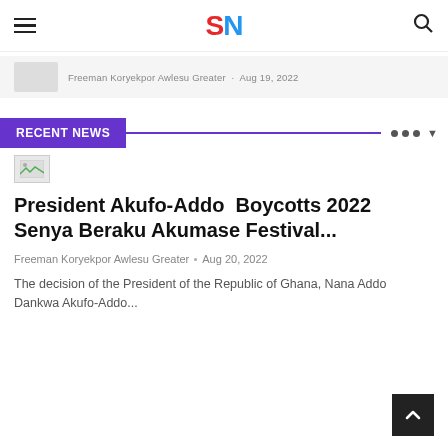SN (SuccessNews logo) — hamburger menu and search icon
Freeman Koryekpor Awlesu Greater · Aug 19, 2022
RECENT NEWS
[Figure (photo): Small broken/placeholder thumbnail image]
President Akufo-Addo  Boycotts 2022 Senya Beraku Akumase Festival...
Freeman Koryekpor Awlesu Greater · Aug 20, 2022
The decision of the President of the Republic of Ghana, Nana Addo Dankwa Akufo-Addo...